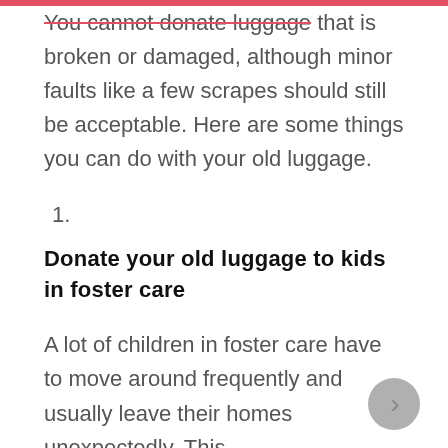You cannot donate luggage that is broken or damaged, although minor faults like a few scrapes should still be acceptable. Here are some things you can do with your old luggage.
1.
Donate your old luggage to kids in foster care
A lot of children in foster care have to move around frequently and usually leave their homes unexpectedly. This